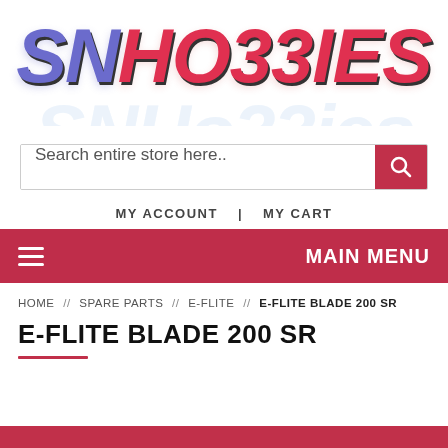[Figure (logo): SN Hobbies logo with purple 'SN' and red 'HOBBIES' text, italic bold font with reflection effect]
Search entire store here..
MY ACCOUNT  |  MY CART
MAIN MENU
HOME // SPARE PARTS // E-FLITE // E-FLITE BLADE 200 SR
E-FLITE BLADE 200 SR